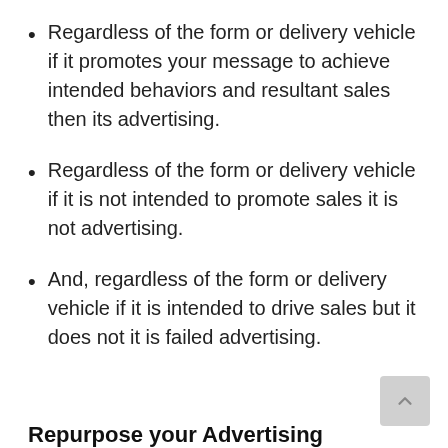Regardless of the form or delivery vehicle if it promotes your message to achieve intended behaviors and resultant sales then its advertising.
Regardless of the form or delivery vehicle if it is not intended to promote sales it is not advertising.
And, regardless of the form or delivery vehicle if it is intended to drive sales but it does not it is failed advertising.
Repurpose your Advertising